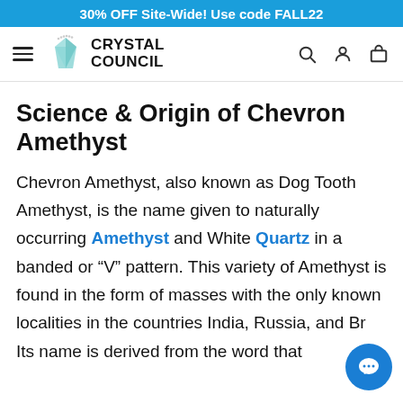30% OFF Site-Wide! Use code FALL22
[Figure (logo): Crystal Council logo with hamburger menu, crystal icon, search, account, and cart icons]
Science & Origin of Chevron Amethyst
Chevron Amethyst, also known as Dog Tooth Amethyst, is the name given to naturally occurring Amethyst and White Quartz in a banded or “V” pattern. This variety of Amethyst is found in the form of masses with the only known localities in the countries India, Russia, and Br... Its name is derived from the word that